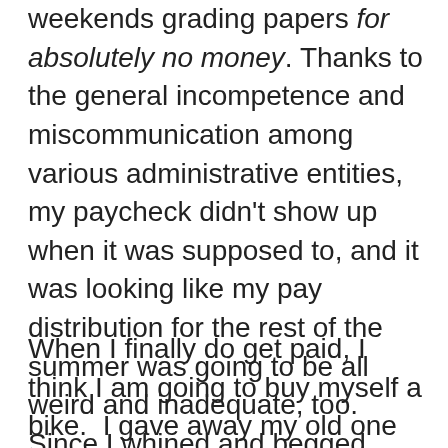weekends grading papers for absolutely no money. Thanks to the general incompetence and miscommunication among various administrative entities, my paycheck didn't show up when it was supposed to, and it was looking like my pay distribution for the rest of the summer was going to be all weird and inadequate, too.  Since I whined and begged, they finally decided to pay me all in one lump sum for that course, which will improve my life dramatically.  Err, except for these next two weeks, during which time I will have no funds for anything other than keeping myself, the dog, and the cat stocked up on our respective kibbles.
When I finally do get paid, I think I am going to buy myself a bike.  I gave away my old one when I left Zembla, and after two years here in New Wye I think